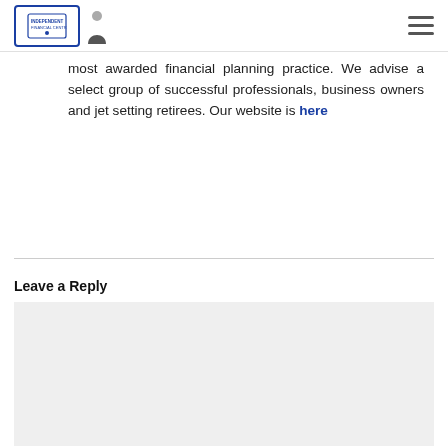Independent Financial Centre logo and navigation
most awarded financial planning practice. We advise a select group of successful professionals, business owners and jet setting retirees. Our website is here
Leave a Reply